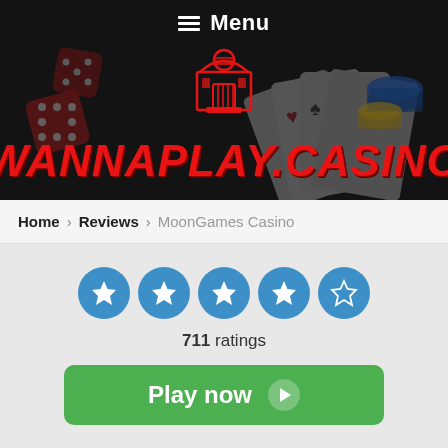Menu
[Figure (logo): WannaPlay.Casino logo with casino building icon and red italic text WANNAPLAY.CASINO on dark background with dice and cards]
Home > Reviews > MoonGames Casino
[Figure (infographic): 4 out of 5 star rating shown as blue circles with white stars, 711 ratings]
711 ratings
Play now